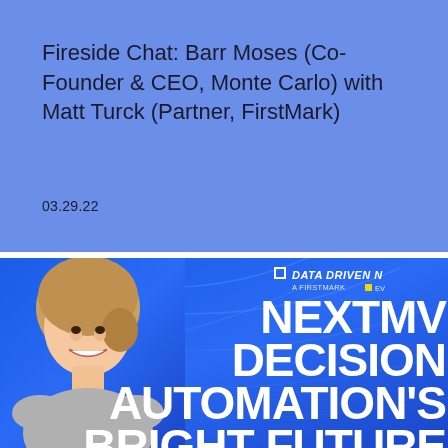Fireside Chat: Barr Moses (Co-Founder & CEO, Monte Carlo) with Matt Turck (Partner, FirstMark)
03.29.22
[Figure (infographic): Bottom section with blue gradient background, woman's headshot photo on left, 'Data Driven NYC' logo top right, and large white bold text reading 'NEXTMV', 'DECISION', 'AUTOMATION'S', 'BRIGHT FUTURE' on the right side]